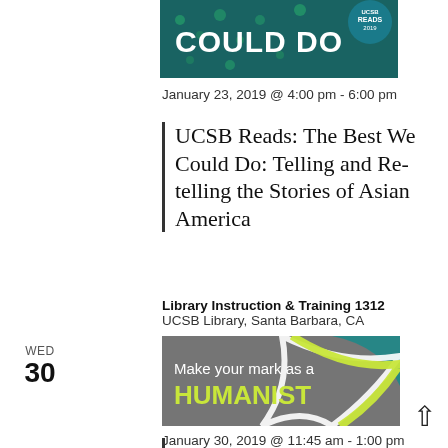[Figure (illustration): Book cover for 'The Best We Could Do' with teal background and 'COULD DO' text visible, with UCSB Reads badge]
January 23, 2019 @ 4:00 pm - 6:00 pm
UCSB Reads: The Best We Could Do: Telling and Re-telling the Stories of Asian America
Library Instruction & Training 1312
UCSB Library, Santa Barbara, CA
WED
30
[Figure (illustration): Banner image reading 'Make your mark as a HUMANIST' on grey background with teal and lime green swoosh design]
January 30, 2019 @ 11:45 am - 1:00 pm